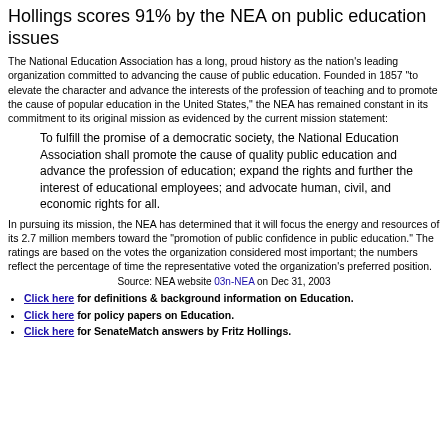Hollings scores 91% by the NEA on public education issues
The National Education Association has a long, proud history as the nation's leading organization committed to advancing the cause of public education. Founded in 1857 "to elevate the character and advance the interests of the profession of teaching and to promote the cause of popular education in the United States," the NEA has remained constant in its commitment to its original mission as evidenced by the current mission statement:
To fulfill the promise of a democratic society, the National Education Association shall promote the cause of quality public education and advance the profession of education; expand the rights and further the interest of educational employees; and advocate human, civil, and economic rights for all.
In pursuing its mission, the NEA has determined that it will focus the energy and resources of its 2.7 million members toward the "promotion of public confidence in public education." The ratings are based on the votes the organization considered most important; the numbers reflect the percentage of time the representative voted the organization's preferred position.
Source: NEA website 03n-NEA on Dec 31, 2003
Click here for definitions & background information on Education.
Click here for policy papers on Education.
Click here for SenateMatch answers by Fritz Hollings.